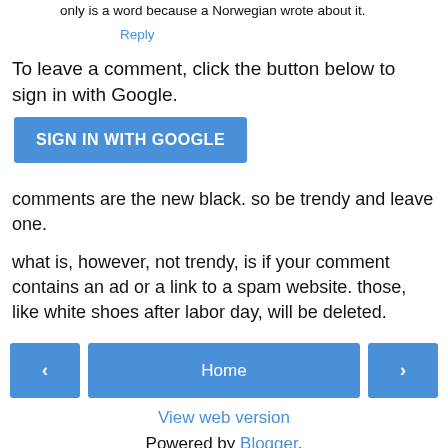only is a word because a Norwegian wrote about it.
Reply
To leave a comment, click the button below to sign in with Google.
SIGN IN WITH GOOGLE
comments are the new black. so be trendy and leave one.
what is, however, not trendy, is if your comment contains an ad or a link to a spam website. those, like white shoes after labor day, will be deleted.
< Home >
View web version
Powered by Blogger.